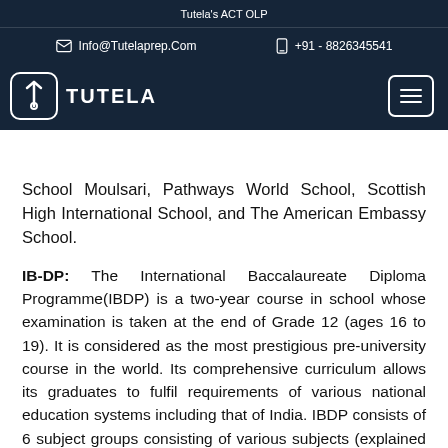Tutela's ACT OLP
Info@Tutelaprep.Com | +91 - 8826345541
School Moulsari, Pathways World School, Scottish High International School, and The American Embassy School.
IB-DP: The International Baccalaureate Diploma Programme(IBDP) is a two-year course in school whose examination is taken at the end of Grade 12 (ages 16 to 19). It is considered as the most prestigious pre-university course in the world. Its comprehensive curriculum allows its graduates to fulfil requirements of various national education systems including that of India. IBDP consists of 6 subject groups consisting of various subjects (explained below).